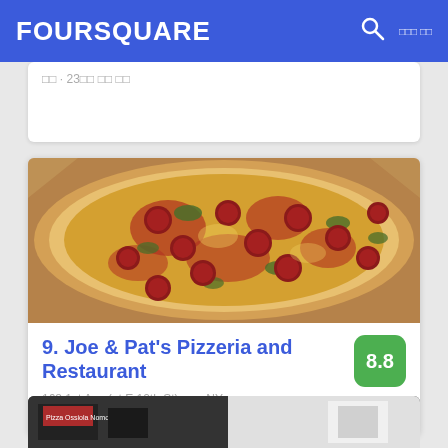FOURSQUARE
□□ · 23□□ □□ □□
[Figure (photo): Close-up photo of a pepperoni and herb pizza in a box, showing melted cheese, red tomato slices, and green herb toppings on a golden crust]
9. Joe & Pat's Pizzeria and Restaurant
8.8
168 1st Ave (at E 10th St), □□, NY
□□ □□□□ · East Village · 20□□ □□ □□
[Figure (photo): Partial view of another restaurant listing at the bottom of the page, showing a storefront]